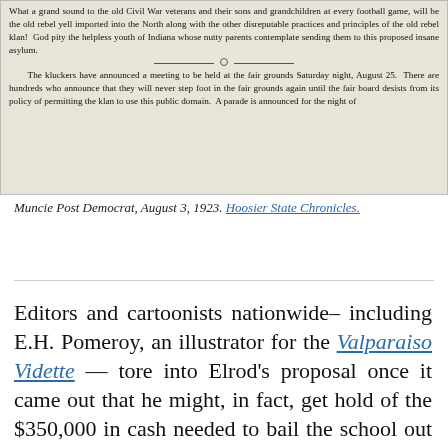[Figure (other): Scanned newspaper clipping showing text about Civil War veterans, rebel yell, and a Klan meeting at the fair grounds, August 25, with a parade announced.]
Muncie Post Democrat, August 3, 1923. Hoosier State Chronicles.
Editors and cartoonists nationwide– including E.H. Pomeroy, an illustrator for the Valparaiso Vidette — tore into Elrod's proposal once it came out that he might, in fact, get hold of the $350,000 in cash needed to bail the school out of debt. (Elrod also promised that the Klan would set it up on a million-dollar endowment,